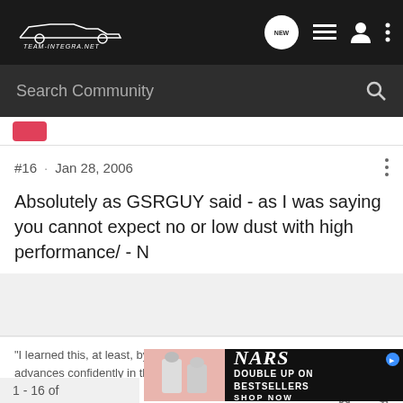Team-Integra.net — navigation bar with search community
#16 · Jan 28, 2006
Absolutely as GSRGUY said - as I was saying you cannot expect no or low dust with high performance/ - N
"I learned this, at least, by my experiment; that if one advances confidently in the direction of his dreams, and endeavors to live the
1 - 16 of